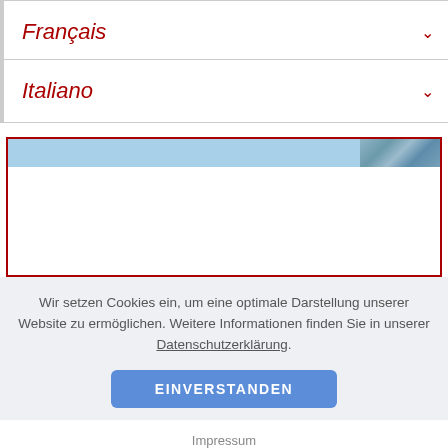Français
Italiano
[Figure (screenshot): A bordered box with a light blue header bar containing a textured image on the right side, and white content area below.]
Wir setzen Cookies ein, um eine optimale Darstellung unserer Website zu ermöglichen. Weitere Informationen finden Sie in unserer Datenschutzerklärung.
EINVERSTANDEN
Impressum